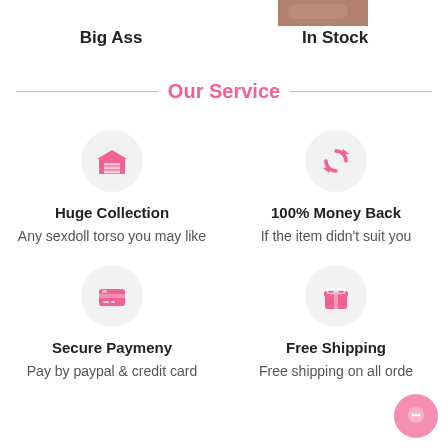[Figure (photo): Partial image of a product (skin-toned surface) visible at the top right]
Big Ass
In Stock
Our Service
[Figure (illustration): Pink garage/warehouse icon inside a light grey circle]
Huge Collection
Any sexdoll torso you may like
[Figure (illustration): Pink refresh/money-back arrows icon inside a light grey circle]
100% Money Back
If the item didn't suit you
[Figure (illustration): Pink payment/dollar card icon inside a light grey circle]
Secure Paymeny
Pay by paypal & credit card
[Figure (illustration): Pink gift/package box icon inside a light grey circle]
Free Shipping
Free shipping on all orde